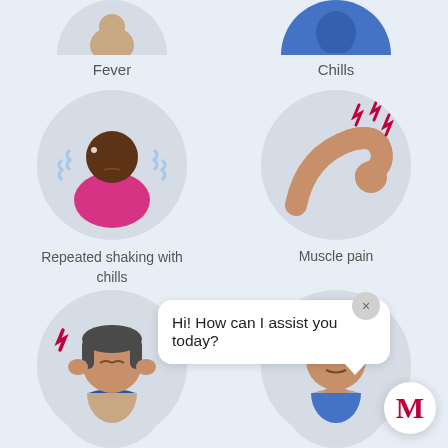[Figure (illustration): Partial circle icon for Fever symptom at top left]
Fever
[Figure (illustration): Partial circle icon for Chills symptom at top right]
Chills
[Figure (illustration): Circle icon showing person shaking with chills (figure in pink/magenta shirt with arms crossed and wavy lines around)]
Repeated shaking with chills
[Figure (illustration): Circle icon showing arm with pain indicators (red zigzag marks near muscle)]
Muscle pain
[Figure (illustration): Circle icon showing person holding head with pain indicators (headache, red zigzag marks on sides of head)]
Headache
[Figure (illustration): Circle icon showing person with hand at throat indicating sore throat]
Sore throat
Hi! How can I assist you today?
[Figure (illustration): Partial circle icons at bottom for two more symptoms]
[Figure (illustration): M logo button for chat assistant]